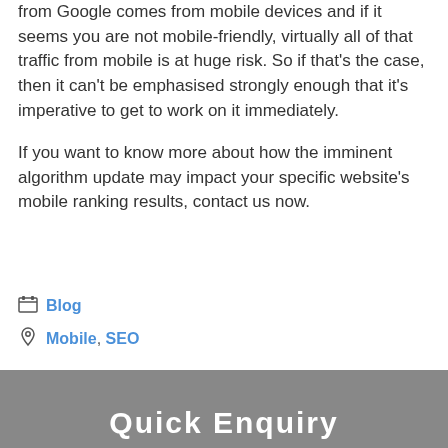from Google comes from mobile devices and if it seems you are not mobile-friendly, virtually all of that traffic from mobile is at huge risk. So if that's the case, then it can't be emphasised strongly enough that it's imperative to get to work on it immediately.
If you want to know more about how the imminent algorithm update may impact your specific website's mobile ranking results, contact us now.
Blog
Mobile, SEO
Quick Enquiry